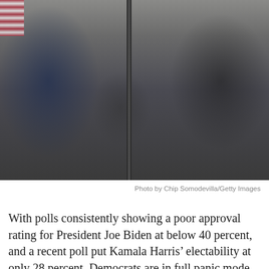[Figure (photo): Photo of political figures seated in chairs on a stage or platform. On the left, a man in a dark navy suit with crossed legs holding papers. In the center background, a man in a dark suit with a blue tie stands. On the right, a woman in dark clothing holds papers. American flag visible at top left. A vertical pole or column divides the scene.]
Photo by Chip Somodevilla/Getty Images
With polls consistently showing a poor approval rating for President Joe Biden at below 40 percent, and a recent poll put Kamala Harris’ electability at only 28 percent, Democrats are in full panic mode.